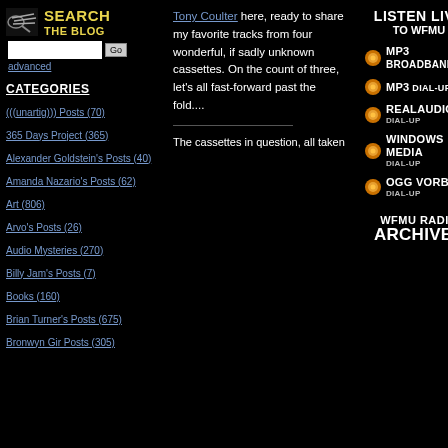[Figure (logo): Search the Blog icon with binoculars/bolts image and yellow SEARCH THE BLOG text]
advanced
CATEGORIES
(((unartig))) Posts (70)
365 Days Project (365)
Alexander Goldstein's Posts (40)
Amanda Nazario's Posts (62)
Art (806)
Arvo's Posts (26)
Audio Mysteries (270)
Billy Jam's Posts (7)
Books (160)
Brian Turner's Posts (675)
Bronwyn Gir Posts (305)
Tony Coulter here, ready to share my favorite tracks from four wonderful, if sadly unknown cassettes. On the count of three, let's all fast-forward past the fold....
The cassettes in question, all taken
[Figure (logo): LISTEN LIVE TO WFMU logo in white bold text]
[Figure (logo): Orange dot MP3 BROADBAND stream option]
[Figure (logo): Orange dot MP3 DIAL-UP stream option]
[Figure (logo): Orange dot REALAUDIO DIAL-UP stream option]
[Figure (logo): Orange dot WINDOWS MEDIA DIAL-UP stream option]
[Figure (logo): Orange dot OGG VORBIS DIAL-UP stream option]
[Figure (logo): WFMU RADIO ARCHIVES logo in white bold text]